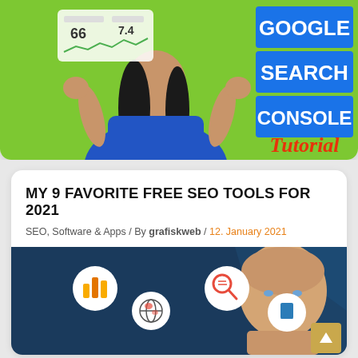[Figure (screenshot): Google Search Console Tutorial thumbnail with a woman in blue dress raising both hands, green background, text GOOGLE SEARCH CONSOLE in blue boxes, Tutorial in red italic text]
MY 9 FAVORITE FREE SEO TOOLS FOR 2021
SEO, Software & Apps / By grafiskweb / 12. January 2021
[Figure (screenshot): Blog post thumbnail for SEO tools article showing a bald man's face on dark blue background with circular icons for SEO tools including Google Analytics, a globe tool, a search tool, and a bookmark tool. Gold/tan scroll-to-top button in bottom right.]